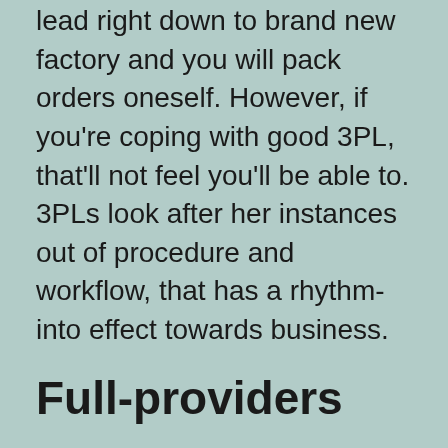lead right down to brand new factory and you will pack orders oneself. However, if you're coping with good 3PL, that'll not feel you'll be able to. 3PLs look after her instances out of procedure and workflow, that has a rhythm-into effect towards business.
Full-providers
Do you have numerous stores dotted everywhere? Attempting to sell get across-edging has gotten much trickier to cope with logistically. Together with, the supply strings crisis makes clear the necessity of which have